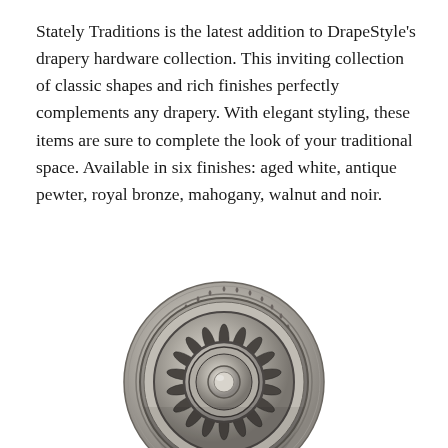Stately Traditions is the latest addition to DrapeStyle's drapery hardware collection. This inviting collection of classic shapes and rich finishes perfectly complements any drapery. With elegant styling, these items are sure to complete the look of your traditional space. Available in six finishes: aged white, antique pewter, royal bronze, mahogany, walnut and noir.
[Figure (photo): A decorative circular drapery hardware finial/medallion in antique pewter finish, featuring a floral rosette center with radiating petals, surrounded by concentric rings and a rope/braid border detail around the outer edge.]